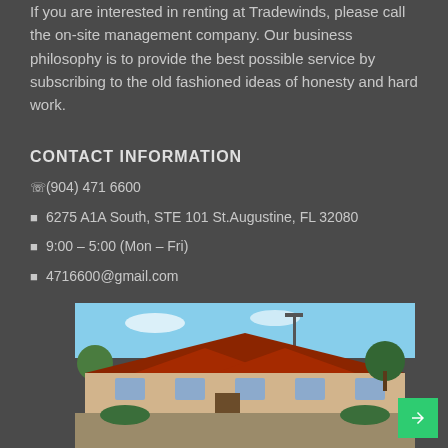If you are interested in renting at Tradewinds, please call the on-site management company. Our business philosophy is to provide the best possible service by subscribing to the old fashioned ideas of honesty and hard work.
CONTACT INFORMATION
☎ (904) 471 6600
📍 6275 A1A South, STE 101 St. Augustine, FL 32080
🕐 9:00 – 5:00 (Mon – Fri)
✉ 4716600@gmail.com
[Figure (photo): Exterior photo of a building with a red/brown pitched roof, beige/tan walls, and a parking area in front. Blue sky and trees visible in the background.]